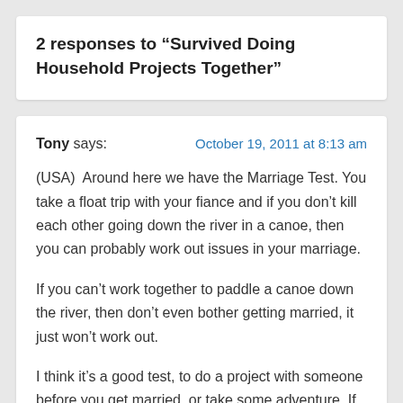2 responses to “Survived Doing Household Projects Together”
Tony says:    October 19, 2011 at 8:13 am

(USA)  Around here we have the Marriage Test. You take a float trip with your fiance and if you don’t kill each other going down the river in a canoe, then you can probably work out issues in your marriage.

If you can’t work together to paddle a canoe down the river, then don’t even bother getting married, it just won’t work out.

I think it’s a good test, to do a project with someone before you get married, or take some adventure. If you